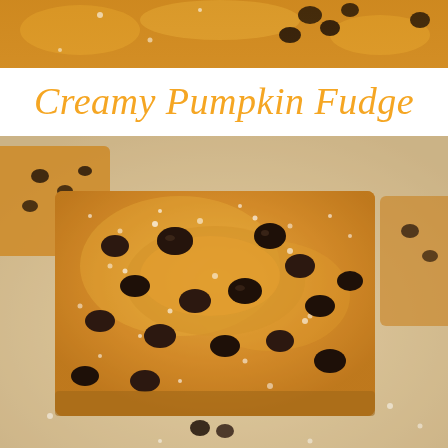[Figure (photo): Close-up top strip of pumpkin fudge pieces with chocolate chips, golden crumbly texture, top portion of image]
Creamy Pumpkin Fudge
[Figure (photo): Close-up photograph of a square piece of creamy pumpkin fudge topped with dark chocolate chips and dusted with powdered sugar, sitting on parchment paper with other fudge pieces visible in background]